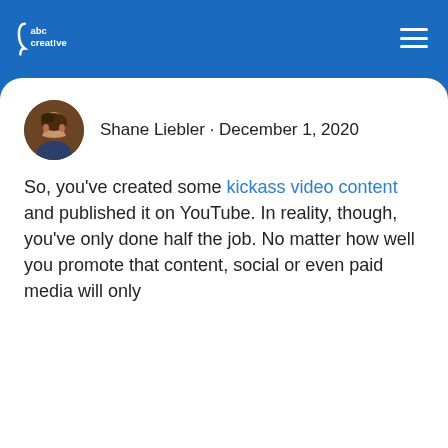abc creative
WHY YOUTUBE TITLES, DESCRIPTIONS AND TAGS MATTER
Shane Liebler · December 1, 2020
So, you've created some kickass video content and published it on YouTube. In reality, though, you've only done half the job. No matter how well you promote that content, social or even paid media will only